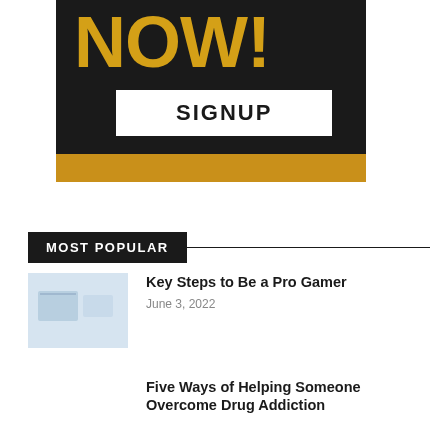[Figure (illustration): Dark banner with yellow text NOW! and a white SIGNUP button, with a gold bar at the bottom]
MOST POPULAR
Key Steps to Be a Pro Gamer
June 3, 2022
Five Ways of Helping Someone Overcome Drug Addiction